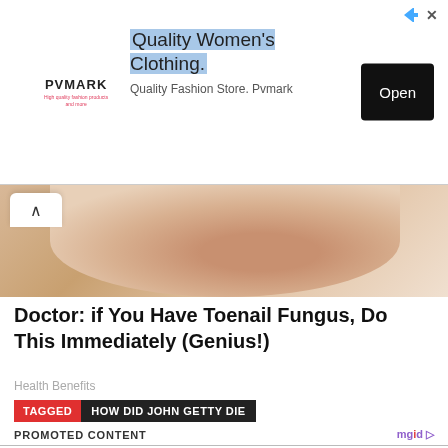[Figure (other): PVMARK advertisement banner for Quality Women's Clothing with Open button]
[Figure (photo): Partial image of toenail or body part, peeking from behind scroll area]
Doctor: if You Have Toenail Fungus, Do This Immediately (Genius!)
Health Benefits
TAGGED  HOW DID JOHN GETTY DIE
PROMOTED CONTENT